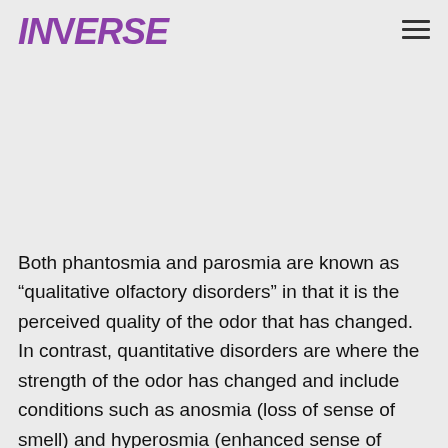INVERSE
Both phantosmia and parosmia are known as “qualitative olfactory disorders” in that it is the perceived quality of the odor that has changed. In contrast, quantitative disorders are where the strength of the odor has changed and include conditions such as anosmia (loss of sense of smell) and hyperosmia (enhanced sense of smell to an abnormal level). Quantitative conditions can